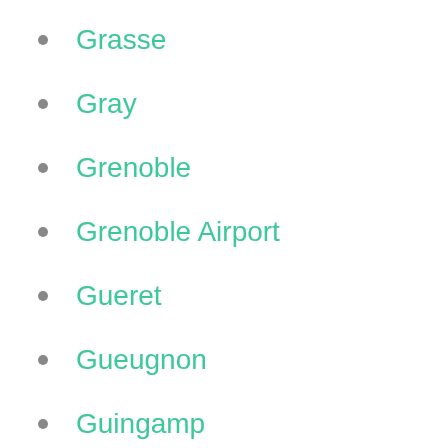Grasse
Gray
Grenoble
Grenoble Airport
Gueret
Gueugnon
Guingamp
Haguenau
Hangenbieten
Haudainville
Henin Beaumont
Herblay
Hirson
Hyeres
Ile Rousse
Isigny le Buat